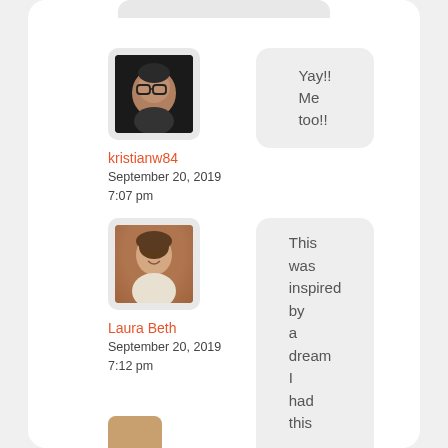[Figure (screenshot): Social media comment thread showing two user comments on a mobile app interface. User kristianw84 commented 'Yay!! Me too!!' on September 20, 2019 7:07 pm. User Laura Beth commented 'This was inspired by a dream I had this week!' on September 20, 2019 7:12 pm. A third comment is partially visible at the bottom.]